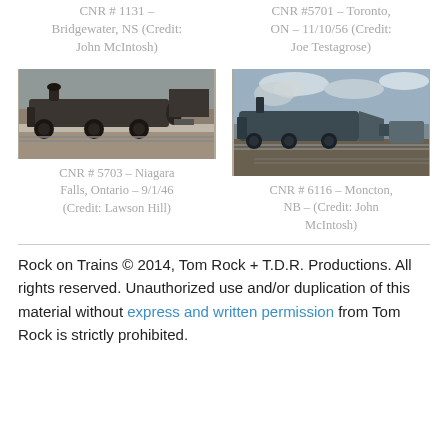CNR # 1131 – Bridgewater, NS (Credit: John McIntosh)
CNR #5701 – Toronto, ON – 11/10/56 (Credit: Joe Testagrose)
[Figure (photo): Black and white photograph of CNR steam locomotive #5703 at Niagara Falls, Ontario]
CNR # 5703 – Niagara Falls, Ontario – 9/1/46 (Credit: Lawson Hill)
[Figure (photo): Color photograph of CNR steam locomotive #6116 at Moncton, NB]
CNR # 6116 – Moncton, NB – (Credit: John McIntosh)
Rock on Trains © 2014, Tom Rock + T.D.R. Productions. All rights reserved. Unauthorized use and/or duplication of this material without express and written permission from Tom Rock is strictly prohibited.